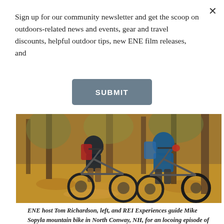Sign up for our community newsletter and get the scoop on outdoors-related news and events, gear and travel discounts, helpful outdoor tips, new ENE film releases, and
SUBMIT
[Figure (photo): Two mountain bikers riding on a leaf-covered trail through an autumn forest. The rider on the left wears a dark jacket with a red backpack; the rider on the right wears a blue jacket with a backpack.]
ENE host Tom Richardson, left, and REI Experiences guide Mike Sopyla mountain bike in North Conway, NH, for an locoing episode of ENE TV.
Explore New England's new season of television